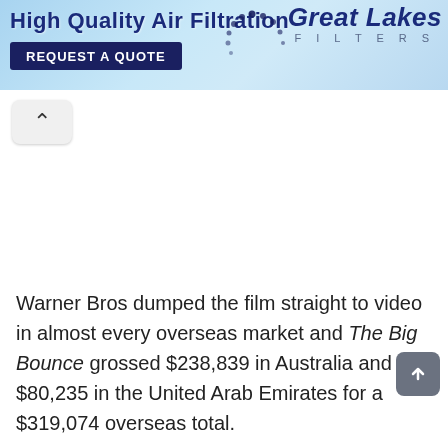[Figure (screenshot): Advertisement banner for Great Lakes Filters - High Quality Air Filtration with 'REQUEST A QUOTE' button and logo with decorative dots]
[Figure (screenshot): UI element: up/back navigation button (chevron up arrow) on light grey rounded rectangle background]
Warner Bros dumped the film straight to video in almost every overseas market and The Big Bounce grossed $238,839 in Australia and $80,235 in the United Arab Emirates for a $319,074 overseas total.